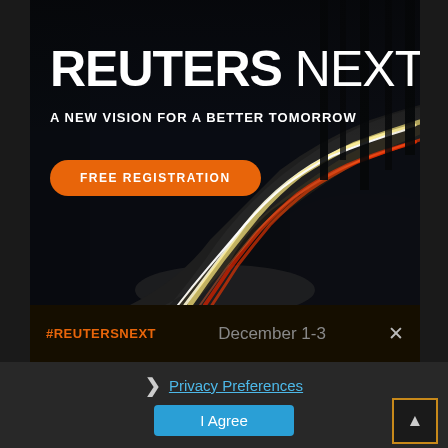[Figure (photo): Reuters Next conference advertisement banner. Dark night road with light trails (long exposure car lights on a winding road), surrounded by forest. Text overlay shows 'REUTERS NEXT' in large white bold text, 'A NEW VISION FOR A BETTER TOMORROW' subtitle, and an orange 'FREE REGISTRATION' button.]
#REUTERSNEXT    December 1-3
Privacy Preferences
I Agree